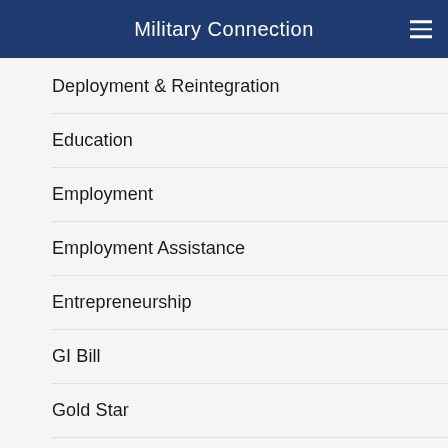Military Connection
Deployment & Reintegration
Education
Employment
Employment Assistance
Entrepreneurship
GI Bill
Gold Star
Government
Greatest War Movies Series
Healthcare